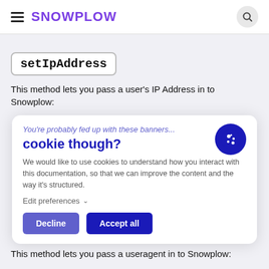SNOWPLOW
setIpAddress
This method lets you pass a user's IP Address in to Snowplow:
[Figure (screenshot): Cookie consent banner with heading 'cookie though?', tagline 'You're probably fed up with these banners...', body text about using cookies to improve documentation, Edit preferences option, and Decline/Accept all buttons.]
This method lets you pass a useragent in to Snowplow: